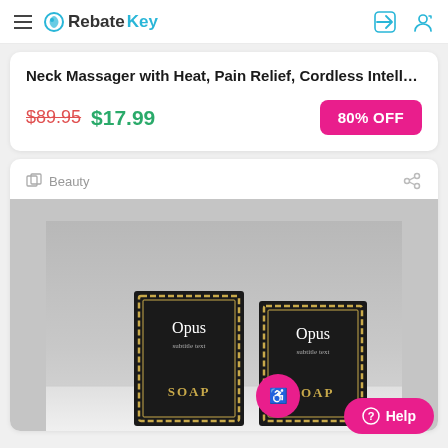RebateKey
Neck Massager with Heat, Pain Relief, Cordless Intell…
$89.95 $17.99 80% OFF
Beauty
[Figure (photo): Two black Opus Soap boxes with gold decorative borders on a grey background]